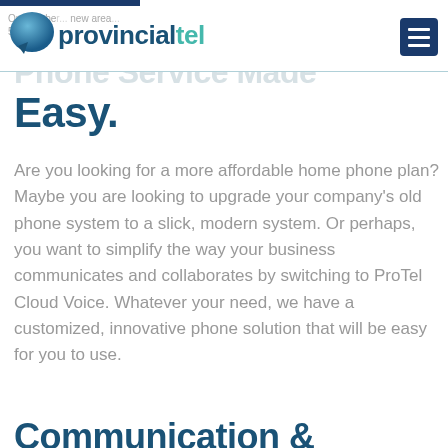provincialtel — On October ... new area ... 584...
Phone Service Made Easy.
Are you looking for a more affordable home phone plan? Maybe you are looking to upgrade your company's old phone system to a slick, modern system. Or perhaps, you want to simplify the way your business communicates and collaborates by switching to ProTel Cloud Voice. Whatever your need, we have a customized, innovative phone solution that will be easy for you to use.
Communication &